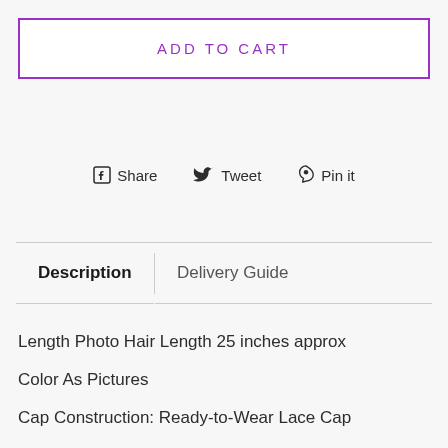ADD TO CART
Share  Tweet  Pin it
Description  |  Delivery Guide
Length  Photo Hair Length 25 inches approx
Color  As Pictures
Cap Construction: Ready-to-Wear Lace Cap